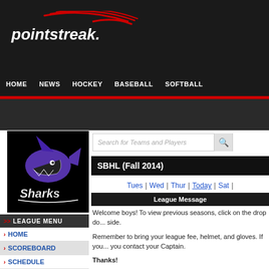[Figure (logo): Pointstreak logo — white italic text 'pointstreak.' with red curved swoosh graphic on dark background]
HOME  NEWS  HOCKEY  BASEBALL  SOFTBALL
[Figure (logo): Sharks team logo — shark graphic in purple and black with 'Sharks' text in white on black background]
LEAGUE MENU
HOME
SCOREBOARD
SCHEDULE
SBHL (Fall 2014)
Tues | Wed | Thur | Today | Sat |
League Message
Welcome boys! To view previous seasons, click on the drop do... side.
Remember to bring your league fee, helmet, and gloves. If you... you contact your Captain.
Thanks!